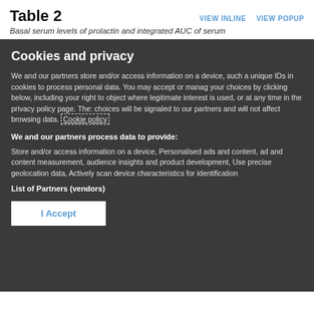Table 2
Basal serum levels of prolactin and integrated AUC of serum
Cookies and privacy
We and our partners store and/or access information on a device, such as unique IDs in cookies to process personal data. You may accept or manage your choices by clicking below, including your right to object where legitimate interest is used, or at any time in the privacy policy page. These choices will be signaled to our partners and will not affect browsing data. Cookie policy
We and our partners process data to provide:
Store and/or access information on a device, Personalised ads and content, ad and content measurement, audience insights and product development, Use precise geolocation data, Actively scan device characteristics for identification
List of Partners (vendors)
I Accept